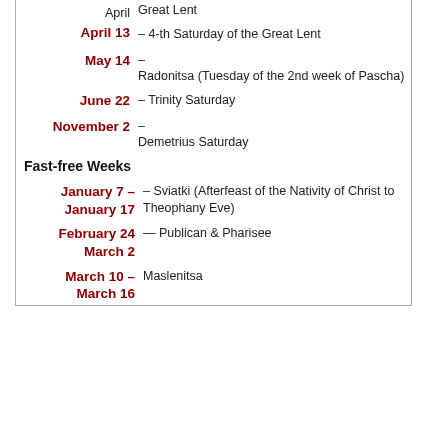| Date | Description |
| --- | --- |
| April 13 | Great Lent – 4-th Saturday of the Great Lent |
| May 14 | – Radonitsa (Tuesday of the 2nd week of Pascha) |
| June 22 | – Trinity Saturday |
| November 2 | – Demetrius Saturday |
Fast-free Weeks
| Date | Description |
| --- | --- |
| January 7 – January 17 | – Sviatki (Afterfeast of the Nativity of Christ to Theophany Eve) |
| February 24 – March 2 | — Publican & Pharisee |
| March 10 – March 16 | — Maslenitsa |